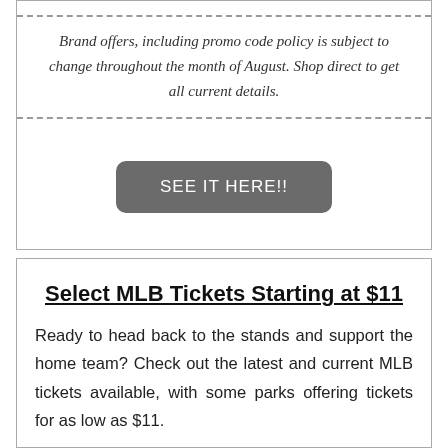Brand offers, including promo code policy is subject to change throughout the month of August.  Shop direct to get all current details.
SEE IT HERE!!
Select MLB Tickets Starting at $11
Ready to head back to the stands and support the home team?  Check out the latest and current MLB tickets available, with some parks offering tickets for as low as $11.